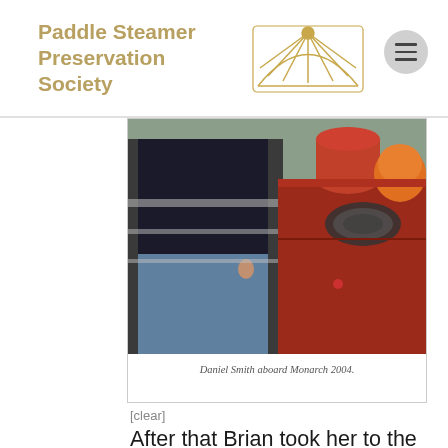Paddle Steamer Preservation Society
[Figure (photo): Person standing on the deck of a vessel next to a large red hull structure with a rope coiled on top and an orange buoy, taken in 2004.]
Daniel Smith aboard Monarch 2004.
[clear]
After that Brian took her to the River Stour in Kent and started running trips carrying just 12 passengers to try to recover some of the money he had